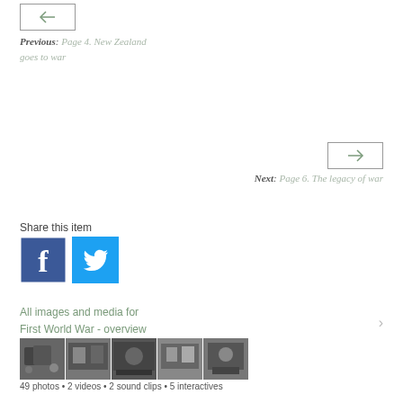← (back button)
Previous: Page 4. New Zealand goes to war
→ (next button)
Next: Page 6. The legacy of war
Share this item
[Figure (logo): Facebook share icon – blue square with white f]
[Figure (logo): Twitter share icon – blue square with white bird]
All images and media for First World War - overview
[Figure (photo): Strip of five black and white historical photographs related to First World War]
49 photos • 2 videos • 2 sound clips • 5 interactives